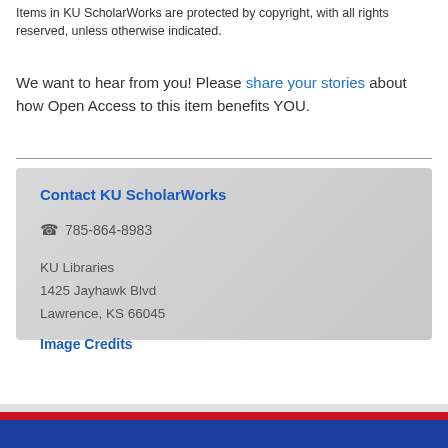Items in KU ScholarWorks are protected by copyright, with all rights reserved, unless otherwise indicated.
We want to hear from you! Please share your stories about how Open Access to this item benefits YOU.
Contact KU ScholarWorks
☎ 785-864-8983
KU Libraries
1425 Jayhawk Blvd
Lawrence, KS 66045
Image Credits